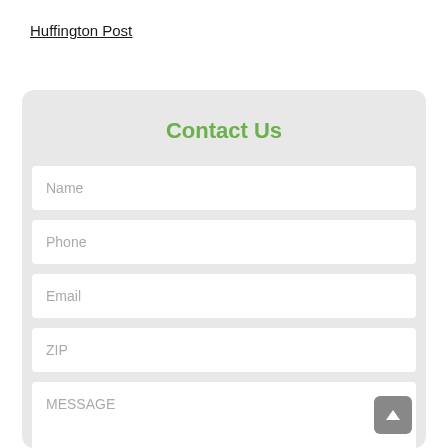Huffington Post
Contact Us
Name
Phone
Email
ZIP
MESSAGE